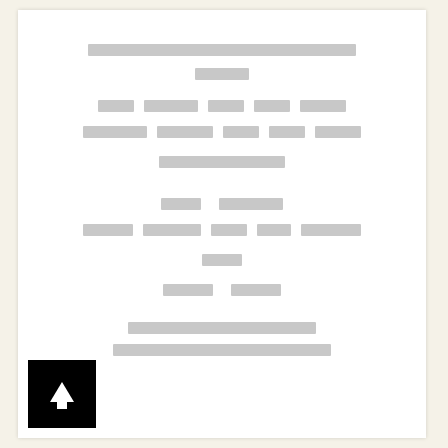[redacted long header line]
[redacted short word]
[redacted row of 5 words]
[redacted row of 5 words]
[redacted long phrase]
[redacted two words]
[redacted row of 5 words]
[redacted word]
[redacted two words]
[redacted long phrase]
[redacted long phrase]